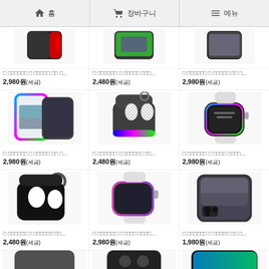홈 | 장바구니 | 메뉴
[Figure (screenshot): E-commerce product listing page showing phone cases, AirPods cases, and Apple Watch cases in a 3-column grid layout with Korean text product names and prices]
□ □□□□□□ □ □□□□□ □□ □...
2,980원(세금)
□ □□□□□□ □ □□□□□ □□□...
2,480원(세금)
□ □□□□□□ □ □□□□□ □□ □...
2,980원(세금)
□ □□□□□□ □ □□□□□ □□ □...
2,980원(세금)
□ □□□□□□ □ □□□□□□ □□...
2,480원(세금)
□ □□□□□□ □ □□□□ □□□□...
2,980원(세금)
□ □□□□□□ □ □□□□□□ □□...
2,480원(세금)
□ □□□□□□ □ □□□□ □□□□...
2,980원(세금)
□ □□□□□□ □ □□□□□ □□ □...
1,980원(세금)